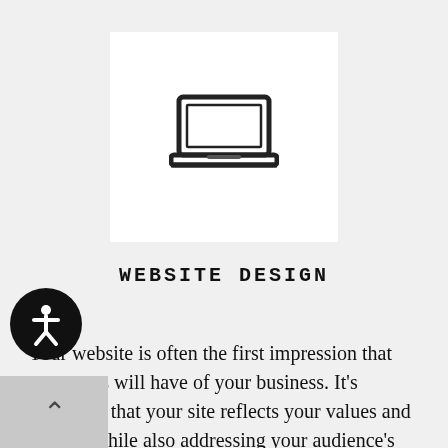[Figure (illustration): Laptop computer icon in black outline on white square background]
WEBSITE DESIGN
Your website is often the first impression that customers will have of your business. It's important that your site reflects your values and culture, while also addressing your audience's needs—all while delivering a seamless, intuitive user experience. Does your website have room for improvement?